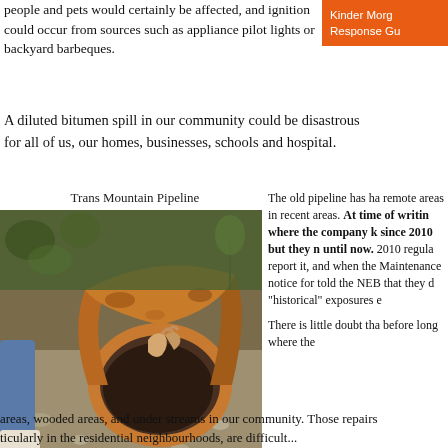people and pets would certainly be affected, and ignition could occur from sources such as appliance pilot lights or backyard barbeques.
Kinder Morg
Response Gu
A diluted bitumen spill in our community could be disastrous for all of us, our homes, businesses, schools and hospital.
Trans Mountain Pipeline
[Figure (photo): A rusted corroded pipeline section lying on the ground in a wooded area, with a person crouching beside it at Coquihalla Canyon, 2013]
Coquihalla Canyon, 2013
The old pipeline has ha remote areas in recent areas. At time of writin where the company k since 2010 but they n until now. 2010 regula report it, and when the Maintenance notice for told the NEB that they d "historical" exposures e
There is little doubt tha before long where the
areas, wooded areas, and under streams in our community. Those repairs
ticularly in the residential neighbourhoods, are difficult...